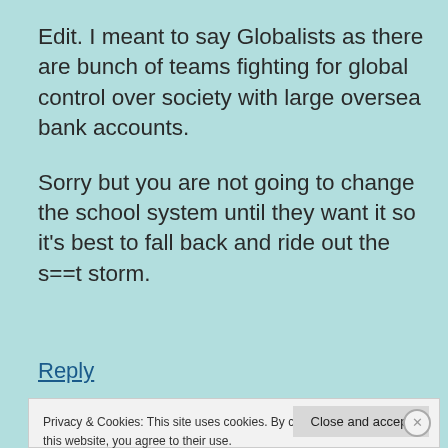Edit. I meant to say Globalists as there are bunch of teams fighting for global control over society with large oversea bank accounts.

Sorry but you are not going to change the school system until they want it so it's best to fall back and ride out the s==t storm.
Reply
Privacy & Cookies: This site uses cookies. By continuing to use this website, you agree to their use.
To find out more, including how to control cookies, see here: Cookie Policy
Close and accept